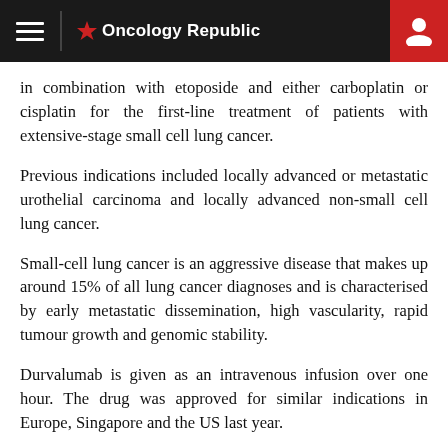Oncology Republic
in combination with etoposide and either carboplatin or cisplatin for the first-line treatment of patients with extensive-stage small cell lung cancer.
Previous indications included locally advanced or metastatic urothelial carcinoma and locally advanced non-small cell lung cancer.
Small-cell lung cancer is an aggressive disease that makes up around 15% of all lung cancer diagnoses and is characterised by early metastatic dissemination, high vascularity, rapid tumour growth and genomic stability.
Durvalumab is given as an intravenous infusion over one hour. The drug was approved for similar indications in Europe, Singapore and the US last year.